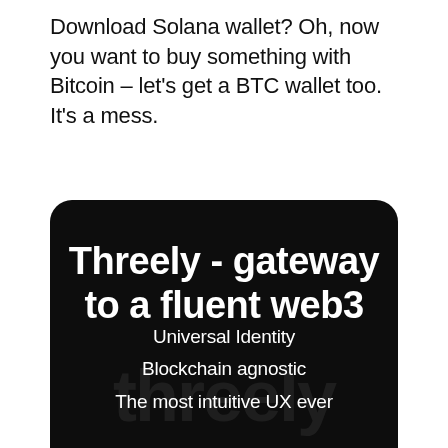Download Solana wallet? Oh, now you want to buy something with Bitcoin – let's get a BTC wallet too. It's a mess.
[Figure (infographic): Dark rounded card with bold white title 'Threely - gateway to a fluent web3', a faint watermark of the word 'threely', and three bullet lines: 'Universal Identity', 'Blockchain agnostic', 'The most intuitive UX ever']